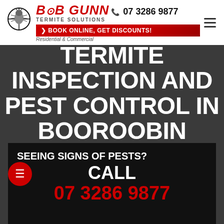[Figure (logo): Bob Gunn Termite Solutions logo with crosshair/termite graphic, red italic brand name text, phone number, book online button, and Residential & Commercial tagline]
TERMITE INSPECTION AND PEST CONTROL IN BOOROOBIN
SEEING SIGNS OF PESTS? CALL 07 3286 9877